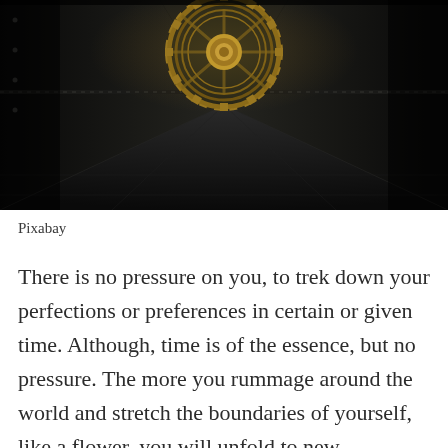[Figure (photo): Dark atmospheric interior photo showing a steampunk-style vault or chamber with a large ornate circular gear/cog mechanism on the wall, metallic walls with rivets, and a tiled floor. The image is dark with golden/bronze tones on the central gear mechanism.]
Pixabay
There is no pressure on you, to trek down your perfections or preferences in certain or given time. Although, time is of the essence, but no pressure. The more you rummage around the world and stretch the boundaries of yourself, like a flower, you will unfold to new attractions. Moreover, you will blossom and discover things unimaginable that may delight you. You get